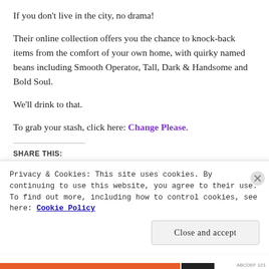If you don't live in the city, no drama!
Their online collection offers you the chance to knock-back items from the comfort of your own home, with quirky named beans including Smooth Operator, Tall, Dark & Handsome and Bold Soul.
We'll drink to that.
To grab your stash, click here: Change Please.
SHARE THIS:
[Figure (other): Share buttons: Facebook, Twitter, WhatsApp, LinkedIn]
Privacy & Cookies: This site uses cookies. By continuing to use this website, you agree to their use.
To find out more, including how to control cookies, see here: Cookie Policy
Close and accept